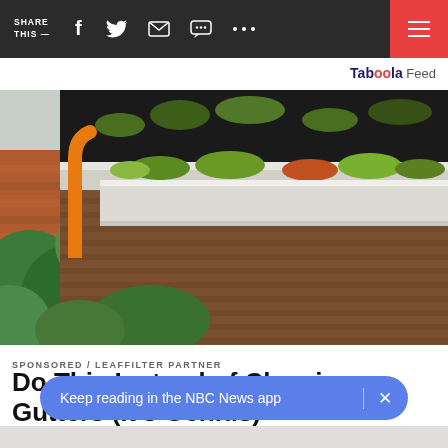SHARE THIS —  [social icons: Facebook, Twitter, Email, Message, More]  [Hamburger menu]
Taboola Feed
[Figure (photo): Close-up photo of a house gutter clogged with moss and plant debris. An orange curved pipe tool is being used to clean the gutter. Background shows a brick house and green hedges.]
SPONSORED / LEAFFILTER PARTNER
Do This Instead of Cleaning Gutters (It's Genius)
Keep reading in the NBC News app  ×